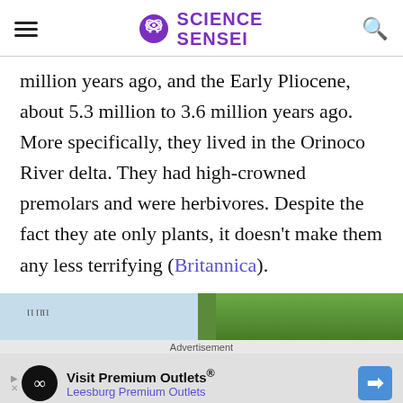Science Sensei
million years ago, and the Early Pliocene, about 5.3 million to 3.6 million years ago. More specifically, they lived in the Orinoco River delta. They had high-crowned premolars and were herbivores. Despite the fact they ate only plants, it doesn't make them any less terrifying (Britannica).
[Figure (photo): Partial view of an outdoor scene with trees and sky, cropped at the bottom of the page]
Advertisement
Visit Premium Outlets® Leesburg Premium Outlets